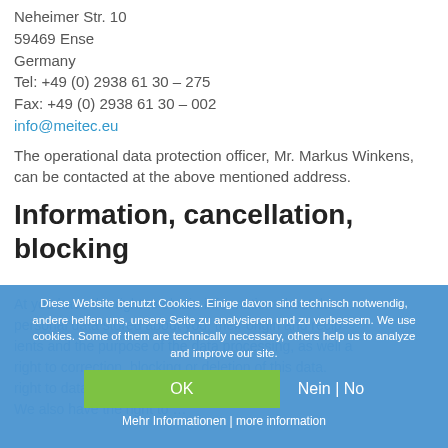Neheimer Str. 10
59469 Ense
Germany
Tel: +49 (0) 2938 61 30 – 275
Fax: +49 (0) 2938 61 30 – 002
info@meitec.eu
The operational data protection officer, Mr. Markus Winkens, can be contacted at the above mentioned address.
Information, cancellation, blocking
Diese Website benutzt Cookies. Einige davon sind technisch notwendig, andere helfen uns, unsere Seite zu analysieren und zu verbessern. We use cookies. Some of them are technically necessary, others help us to analyze and improve our site.
OK
Nein | No
Mehr Informationen | more information